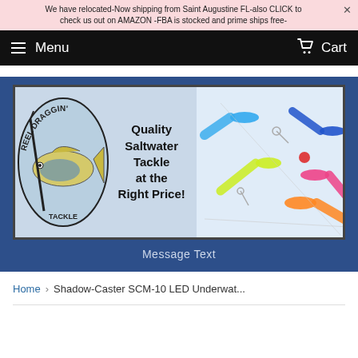We have relocated-Now shipping from Saint Augustine FL-also CLICK to check us out on AMAZON -FBA is stocked and prime ships free-
Menu   Cart
[Figure (illustration): Reel Draggin Tackle logo with tuna fish and fishing rod on a circular blue badge, next to text 'Quality Saltwater Tackle at the Right Price!', and a photo of colorful fishing lures and rigs on the right]
Message Text
Home › Shadow-Caster SCM-10 LED Underwat...